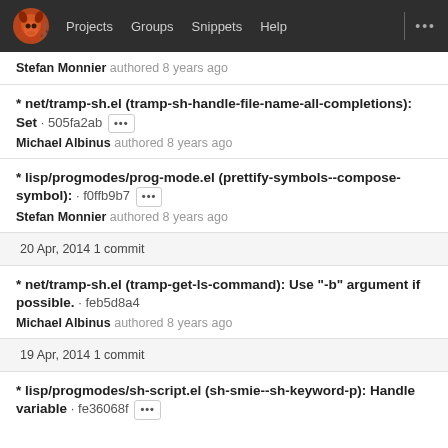Projects  Groups  Snippets  Help  ...
Stefan Monnier authored 8 years ago
* net/tramp-sh.el (tramp-sh-handle-file-name-all-completions): Set · 505fa2ab  [...]
Michael Albinus authored 8 years ago
* lisp/progmodes/prog-mode.el (prettify-symbols--compose-symbol): · f0ffb9b7  [...]
Stefan Monnier authored 8 years ago
20 Apr, 2014 1 commit
* net/tramp-sh.el (tramp-get-ls-command): Use "-b" argument if possible. · feb5d8a4
Michael Albinus authored 8 years ago
19 Apr, 2014 1 commit
* lisp/progmodes/sh-script.el (sh-smie--sh-keyword-p): Handle variable · fe36068f  [...]